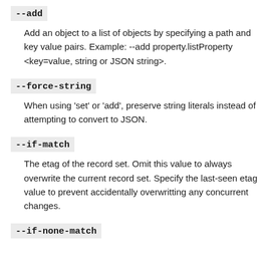--add
Add an object to a list of objects by specifying a path and key value pairs. Example: --add property.listProperty <key=value, string or JSON string>.
--force-string
When using 'set' or 'add', preserve string literals instead of attempting to convert to JSON.
--if-match
The etag of the record set. Omit this value to always overwrite the current record set. Specify the last-seen etag value to prevent accidentally overwritting any concurrent changes.
--if-none-match